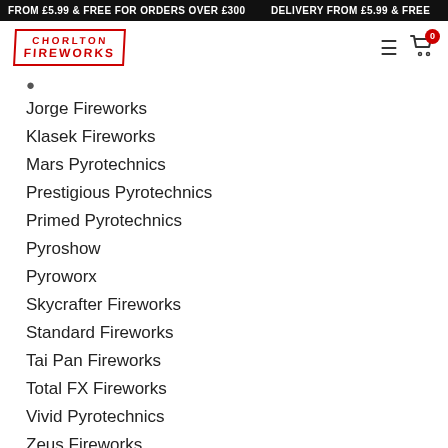FROM £5.99 & FREE FOR ORDERS OVER £300    DELIVERY FROM £5.99 & FREE
[Figure (logo): Chorlton Fireworks logo in red block text with border]
Jorge Fireworks
Klasek Fireworks
Mars Pyrotechnics
Prestigious Pyrotechnics
Primed Pyrotechnics
Pyroshow
Pyroworx
Skycrafter Fireworks
Standard Fireworks
Tai Pan Fireworks
Total FX Fireworks
Vivid Pyrotechnics
Zeus Fireworks
Others